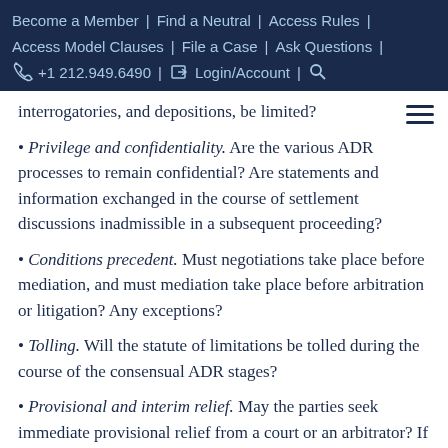Become a Member | Find a Neutral | Access Rules | Access Model Clauses | File a Case | Ask Questions | +1 212.949.6490 | Login/Account |
interrogatories, and depositions, be limited?
Privilege and confidentiality. Are the various ADR processes to remain confidential? Are statements and information exchanged in the course of settlement discussions inadmissible in a subsequent proceeding?
Conditions precedent. Must negotiations take place before mediation, and must mediation take place before arbitration or litigation? Any exceptions?
Tolling. Will the statute of limitations be tolled during the course of the consensual ADR stages?
Provisional and interim relief. May the parties seek immediate provisional relief from a court or an arbitrator? If so, with respect to what relief, and to what end?